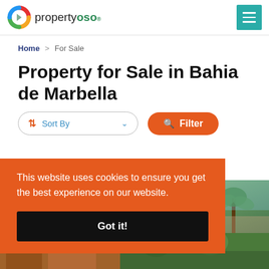propertyoso
Home > For Sale
Property for Sale in Bahia de Marbella
Sort By | Filter
This website uses cookies to ensure you get the best experience on our website.
Got it!